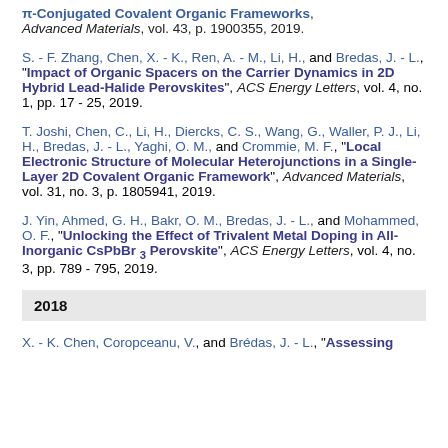π-Conjugated Covalent Organic Frameworks", Advanced Materials, vol. 43, p. 1900355, 2019.
S. - F. Zhang, Chen, X. - K., Ren, A. - M., Li, H., and Bredas, J. - L., "Impact of Organic Spacers on the Carrier Dynamics in 2D Hybrid Lead-Halide Perovskites", ACS Energy Letters, vol. 4, no. 1, pp. 17 - 25, 2019.
T. Joshi, Chen, C., Li, H., Diercks, C. S., Wang, G., Waller, P. J., Li, H., Bredas, J. - L., Yaghi, O. M., and Crommie, M. F., "Local Electronic Structure of Molecular Heterojunctions in a Single-Layer 2D Covalent Organic Framework", Advanced Materials, vol. 31, no. 3, p. 1805941, 2019.
J. Yin, Ahmed, G. H., Bakr, O. M., Bredas, J. - L., and Mohammed, O. F., "Unlocking the Effect of Trivalent Metal Doping in All-Inorganic CsPbBr3 Perovskite", ACS Energy Letters, vol. 4, no. 3, pp. 789 - 795, 2019.
2018
X. - K. Chen, Coropceanu, V., and Brédas, J. - L., "Assessing